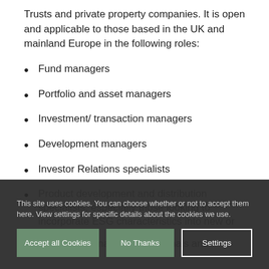Trusts and private property companies. It is open and applicable to those based in the UK and mainland Europe in the following roles:
Fund managers
Portfolio and asset managers
Investment/ transaction managers
Development managers
Investor Relations specialists
Product development and distribution specialists, especially those looking to incorporate ESG characteristics into new or
Real estate finance professionals and
This site uses cookies. You can choose whether or not to accept them here. View settings for specific details about the cookies we use.